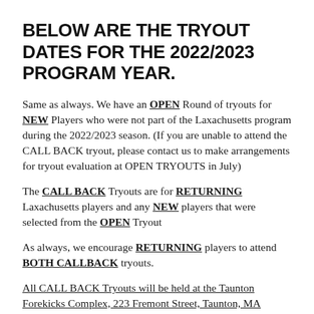BELOW ARE THE TRYOUT DATES FOR THE 2022/2023 PROGRAM YEAR.
Same as always. We have an OPEN Round of tryouts for NEW Players who were not part of the Laxachusetts program during the 2022/2023 season. (If you are unable to attend the CALL BACK tryout, please contact us to make arrangements for tryout evaluation at OPEN TRYOUTS in July)
The CALL BACK Tryouts are for RETURNING Laxachusetts players and any NEW players that were selected from the OPEN Tryout
As always, we encourage RETURNING players to attend BOTH CALLBACK tryouts.
All CALL BACK Tryouts will be held at the Taunton Forekicks Complex, 223 Fremont Street, Taunton, MA